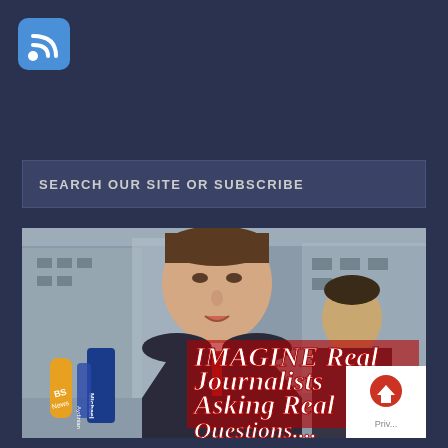[Figure (logo): RSS feed icon - blue rounded square with white wifi/RSS symbol]
SEARCH OUR SITE OR SUBSCRIBE
[Figure (photo): Meme image of a politician (resembling David Cameron) speaking at a press conference surrounded by microphones including one labeled 'BS News' and one labeled 'Michael Aydinian'. Overlaid red bold italic text reads: IMAGINE Real Journalists Asking Real Questions....]